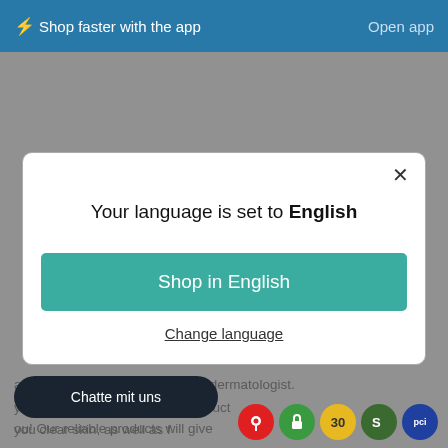⚡ Shop faster with the app   Open app
[Figure (screenshot): Language selection modal dialog with title 'Your language is set to English', a teal 'Shop in English' button, and a 'Change language' link. Behind the modal, a dimmed webpage with text about active ingredients and product descriptions is visible. A dark chat button 'Chatte mit uns' appears at bottom left, and trust badge icons at bottom right.]
Your language is set to English
Shop in English
Change language
active ingredients reviewed by a dermatologist.
you're looking for we have a product ou! Our reliable products will give you clear skin, as well as f
Chatte mit uns